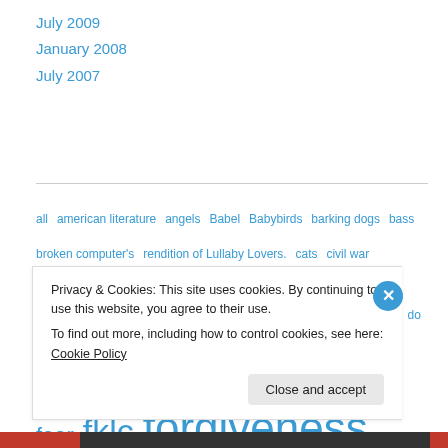July 2009
January 2008
July 2007
all american literature angels Babel Babybirds barking dogs bass broken computer's rendition of Lullaby Lovers. cats civil war community cops death desperation diana diary Dink do children matter? the NRA do it dream drugs f-gen facebook fear fklc forgiveness frustration generation x growth happiness. darkness hope humor imagination light literature loneliness love madness
Privacy & Cookies: This site uses cookies. By continuing to use this website, you agree to their use.
To find out more, including how to control cookies, see here: Cookie Policy